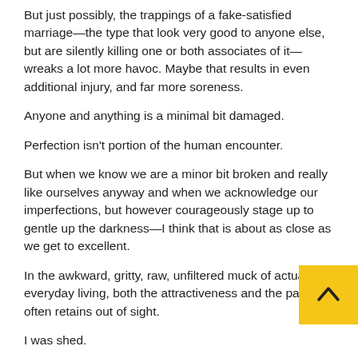But just possibly, the trappings of a fake-satisfied marriage—the type that look very good to anyone else, but are silently killing one or both associates of it—wreaks a lot more havoc. Maybe that results in even additional injury, and far more soreness.
Anyone and anything is a minimal bit damaged.
Perfection isn't portion of the human encounter.
But when we know we are a minor bit broken and really like ourselves anyway and when we acknowledge our imperfections, but however courageously stage up to gentle up the darkness—I think that is about as close as we get to excellent.
In the awkward, gritty, raw, unfiltered muck of actual everyday living, both the attractiveness and the pain often retains out of sight.
I was shed.
And I kept on and on had a mix of feelings at that...